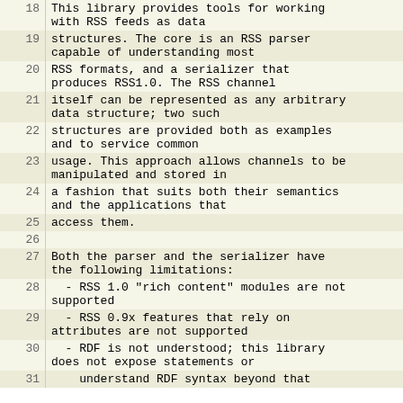18: This library provides tools for working with RSS feeds as data
19: structures. The core is an RSS parser capable of understanding most
20: RSS formats, and a serializer that produces RSS1.0. The RSS channel
21: itself can be represented as any arbitrary data structure; two such
22: structures are provided both as examples and to service common
23: usage. This approach allows channels to be manipulated and stored in
24: a fashion that suits both their semantics and the applications that
25: access them.
26: 
27: Both the parser and the serializer have the following limitations:
28:   - RSS 1.0 "rich content" modules are not supported
29:   - RSS 0.9x features that rely on attributes are not supported
30:   - RDF is not understood; this library does not expose statements or
31:     understand RDF syntax beyond that